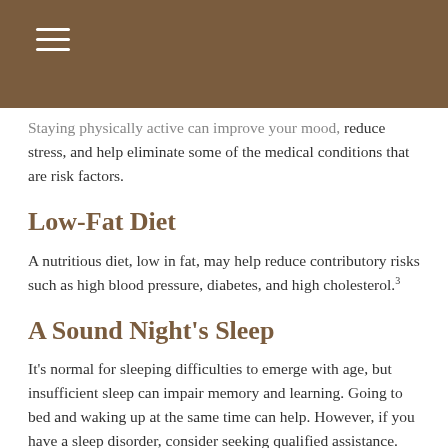Staying physically active can improve your mood, reduce stress, and help eliminate some of the medical conditions that are risk factors.
Low-Fat Diet
A nutritious diet, low in fat, may help reduce contributory risks such as high blood pressure, diabetes, and high cholesterol.³
A Sound Night's Sleep
It's normal for sleeping difficulties to emerge with age, but insufficient sleep can impair memory and learning. Going to bed and waking up at the same time can help. However, if you have a sleep disorder, consider seeking qualified assistance.